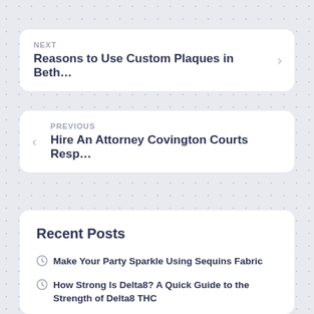NEXT
Reasons to Use Custom Plaques in Beth…
PREVIOUS
Hire An Attorney Covington Courts Resp…
Recent Posts
Make Your Party Sparkle Using Sequins Fabric
How Strong Is Delta8? A Quick Guide to the Strength of Delta8 THC
Professional Brokers Will Connect You With the Right Commercial Space
What to Know About Fish Box Delivery in London,